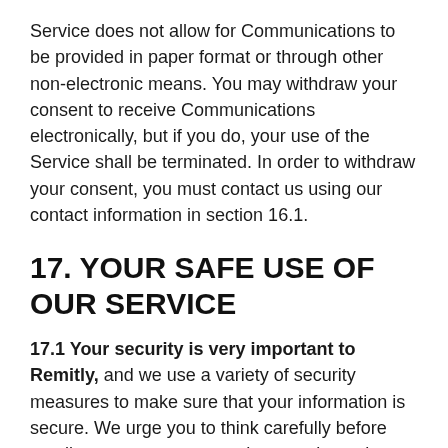Service does not allow for Communications to be provided in paper format or through other non-electronic means. You may withdraw your consent to receive Communications electronically, but if you do, your use of the Service shall be terminated. In order to withdraw your consent, you must contact us using our contact information in section 16.1.
17. YOUR SAFE USE OF OUR SERVICE
17.1 Your security is very important to Remitly, and we use a variety of security measures to make sure that your information is secure. We urge you to think carefully before sending money to anyone that you do not know well. In particular, you should be cautious of deals or offers that seem too good to be true.
17.2 Your obligations to safely use our Services. You